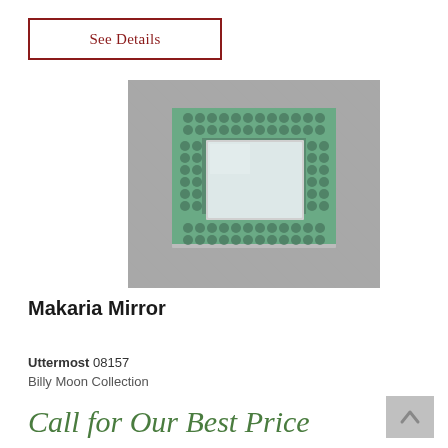See Details
[Figure (photo): A decorative rectangular mirror with a wide mosaic frame in teal/green tones, mounted on a grey concrete wall.]
Makaria Mirror
Uttermost 08157
Billy Moon Collection
Call for Our Best Price